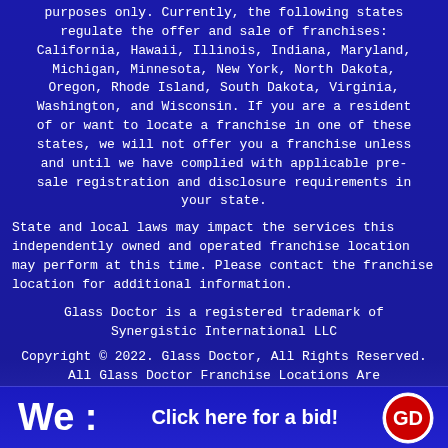purposes only. Currently, the following states regulate the offer and sale of franchises: California, Hawaii, Illinois, Indiana, Maryland, Michigan, Minnesota, New York, North Dakota, Oregon, Rhode Island, South Dakota, Virginia, Washington, and Wisconsin. If you are a resident of or want to locate a franchise in one of these states, we will not offer you a franchise unless and until we have complied with applicable pre-sale registration and disclosure requirements in your state.
State and local laws may impact the services this independently owned and operated franchise location may perform at this time. Please contact the franchise location for additional information.
Glass Doctor is a registered trademark of Synergistic International LLC
Copyright © 2022. Glass Doctor, All Rights Reserved. All Glass Doctor Franchise Locations Are Independently Owned And Operated
We :    Click here for a bid!